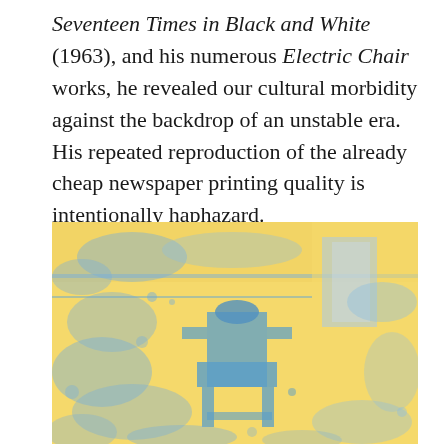Seventeen Times in Black and White (1963), and his numerous Electric Chair works, he revealed our cultural morbidity against the backdrop of an unstable era. His repeated reproduction of the already cheap newspaper printing quality is intentionally haphazard.
[Figure (photo): A Pop Art style silkscreen image in yellow and blue tones depicting an electric chair in an institutional room, reminiscent of Andy Warhol's Electric Chair series.]